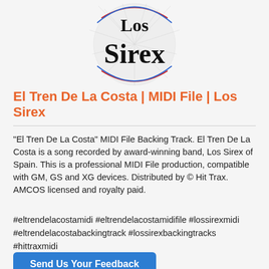[Figure (logo): Los Sirex band logo with large serif text 'Los Sirex' inside a circular design with blue and red arcs on a light background]
El Tren De La Costa | MIDI File | Los Sirex
"El Tren De La Costa" MIDI File Backing Track. El Tren De La Costa is a song recorded by award-winning band, Los Sirex of Spain. This is a professional MIDI File production, compatible with GM, GS and XG devices. Distributed by © Hit Trax. AMCOS licensed and royalty paid.
#eltrendelacostamidi #eltrendelacostamidifile #lossirexmidi #eltrendelacostabackingtrack #lossirexbackingtracks #hittraxmidi
Send Us Your Feedback